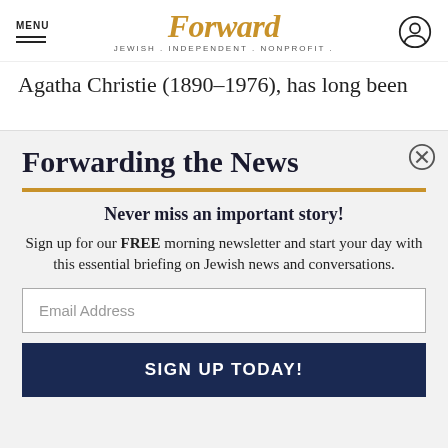MENU | Forward | JEWISH . INDEPENDENT . NONPROFIT .
Agatha Christie (1890–1976), has long been
Forwarding the News
Never miss an important story!
Sign up for our FREE morning newsletter and start your day with this essential briefing on Jewish news and conversations.
Email Address
SIGN UP TODAY!